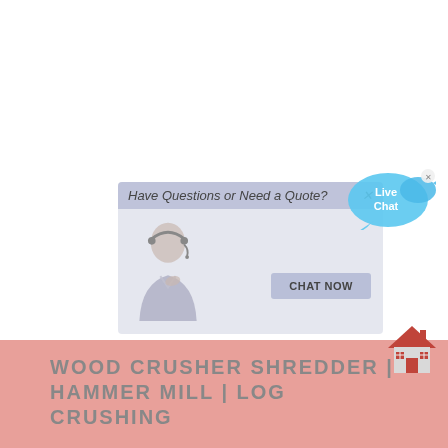[Figure (screenshot): Live chat popup widget showing a customer service representative with headset. Header reads 'Have Questions or Need a Quote?' with a close X button. A 'CHAT NOW' button appears at the bottom right of the popup. A 'Live Chat' speech bubble icon appears to the top right of the popup.]
WOOD CRUSHER SHREDDER | HAMMER MILL | LOG CRUSHING